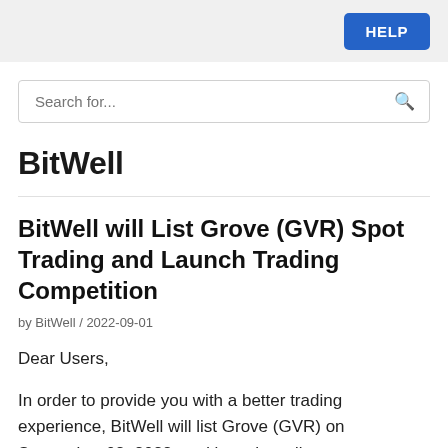HELP
Search for...
BitWell
BitWell will List Grove (GVR) Spot Trading and Launch Trading Competition
by BitWell / 2022-09-01
Dear Users,
In order to provide you with a better trading experience, BitWell will list Grove (GVR) on September 02, 2022, and launch trading compe…